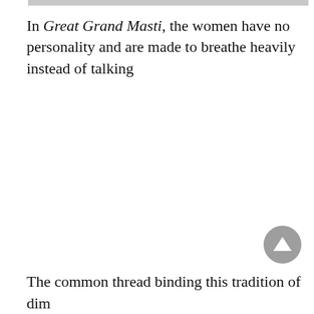[Figure (other): Gray horizontal bar at top of page]
In Great Grand Masti, the women have no personality and are made to breathe heavily instead of talking
[Figure (other): Gray circular scroll-to-top button with upward pointing triangle]
The common thread binding this tradition of dim